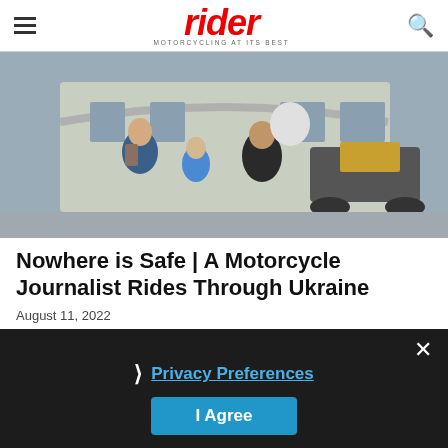rider — MOTORCYCLING AT ITS BEST
[Figure (photo): Three people posing together outdoors in front of a building with a curved canopy. Two adults and a child sit together, with motorcycles visible behind them. One person wears a black motorcycle jacket and holds a helmet.]
Nowhere is Safe | A Motorcycle Journalist Rides Through Ukraine
August 11, 2022
[Figure (screenshot): Dark overlay popup with privacy preferences prompt. Shows a '>' chevron, 'Privacy Preferences' link in blue, an 'I Agree' button in blue, and an X close button.]